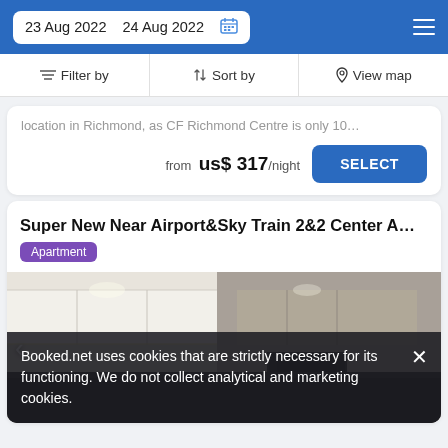23 Aug 2022  24 Aug 2022
Filter by   Sort by   View map
location in Richmond, as CF Richmond Centre is only 10...
from  us$ 317/night  SELECT
Super New Near Airport&Sky Train 2&2 Center A...
Apartment
[Figure (photo): Interior kitchen photo of apartment with white upper cabinets and dark countertop]
Booked.net uses cookies that are strictly necessary for its functioning. We do not collect analytical and marketing cookies.